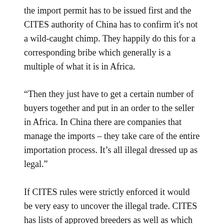the import permit has to be issued first and the CITES authority of China has to confirm it's not a wild-caught chimp. They happily do this for a corresponding bribe which generally is a multiple of what it is in Africa.
“Then they just have to get a certain number of buyers together and put in an order to the seller in Africa. In China there are companies that manage the imports – they take care of the entire importation process. It’s all illegal dressed up as legal.”
If CITES rules were strictly enforced it would be very easy to uncover the illegal trade. CITES has lists of approved breeders as well as which animals can be bred and by which bodies. It’s all online. China only started to import chimpanzees in 2007, so it would have been easy to check that.